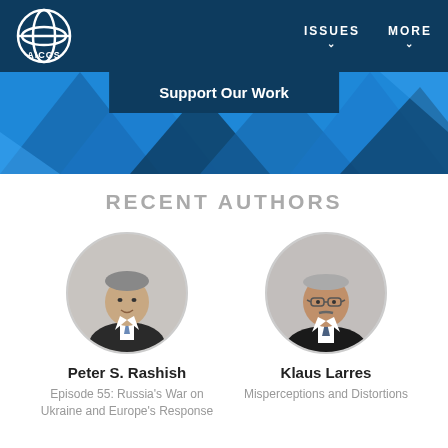AICGS — ISSUES   MORE
Support Our Work
[Figure (illustration): AICGS website banner with blue geometric triangular shapes on a blue background]
RECENT AUTHORS
[Figure (photo): Circular portrait photo of Peter S. Rashish, a man in a suit and tie]
Peter S. Rashish
Episode 55: Russia's War on Ukraine and Europe's Response
[Figure (photo): Circular portrait photo of Klaus Larres, a man in a suit wearing glasses]
Klaus Larres
Misperceptions and Distortions